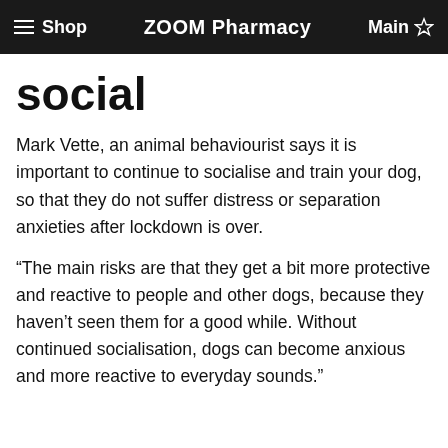Shop  ZOOM Pharmacy  Main
social
Mark Vette, an animal behaviourist says it is important to continue to socialise and train your dog, so that they do not suffer distress or separation anxieties after lockdown is over.
“The main risks are that they get a bit more protective and reactive to people and other dogs, because they haven’t seen them for a good while. Without continued socialisation, dogs can become anxious and more reactive to everyday sounds.”